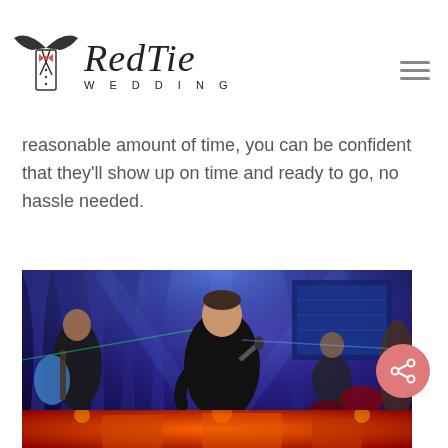Red Tie Wedding
reasonable amount of time, you can be confident that they'll show up on time and ready to go, no hassle needed.
[Figure (photo): A band performing on stage with blue lighting. A male vocalist in a black shirt holds a microphone in the foreground, with a guitarist and drummer visible behind him.]
[Figure (photo): Partial view of another performance photo with warm red/orange lighting, cropped at the bottom of the page.]